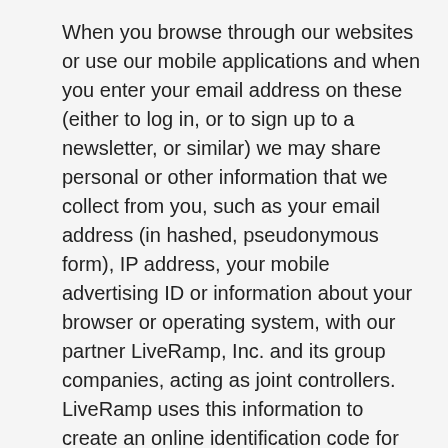When you browse through our websites or use our mobile applications and when you enter your email address on these (either to log in, or to sign up to a newsletter, or similar) we may share personal or other information that we collect from you, such as your email address (in hashed, pseudonymous form), IP address, your mobile advertising ID or information about your browser or operating system, with our partner LiveRamp, Inc. and its group companies, acting as joint controllers. LiveRamp uses this information to create an online identification code for the purpose of recognising you on your devices. This code does not contain any of your identifiable personal data and will not be used by LiveRamp to re-identify you. We place this code in our first party cookie or use a LiveRamp cookie and allow it to be used for online and cross-channel advertising. It may be shared with our advertising partners and other third-party advertising companies globally for the purpose of enabling interest-based content or targeted advertising throughout your online experience (e.g., web, email, connected devices, and in-app, etc). These third parties may in turn use this code to link demographic or interest based information